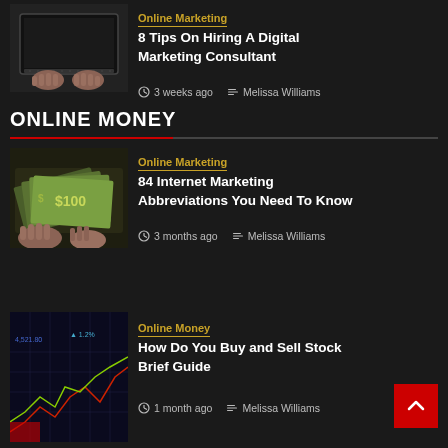[Figure (photo): Hands typing on a laptop keyboard, dark background]
Online Marketing
8 Tips On Hiring A Digital Marketing Consultant
3 weeks ago   Melissa Williams
ONLINE MONEY
[Figure (photo): Hands holding fanned-out US dollar bills]
Online Marketing
84 Internet Marketing Abbreviations You Need To Know
3 months ago   Melissa Williams
[Figure (photo): Stock market chart on screen with red and green lines]
Online Money
How Do You Buy and Sell Stock Brief Guide
1 month ago   Melissa Williams